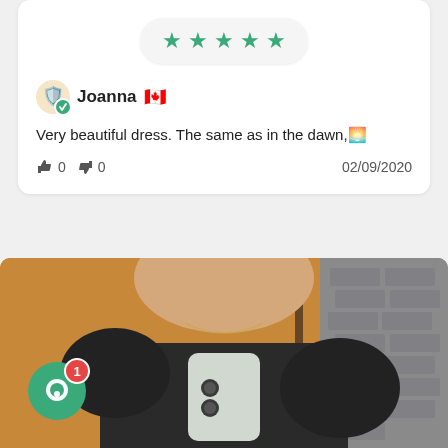[Figure (other): Five teal/green star rating in a pill-shaped container]
Joanna 🇨🇦
Very beautiful dress. The same as in the dawn,🌅
👍 0  👎 0   02/09/2020
[Figure (photo): Mirror selfie photo of a woman wearing a black dress, holding a white iPhone, taken in a room with orange/wood wall and brick wall visible]